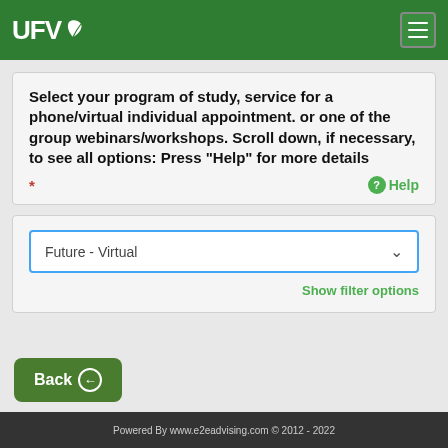[Figure (logo): UFV logo with white text and green leaf on dark green header bar]
Select your program of study, service for a phone/virtual individual appointment. or one of the group webinars/workshops. Scroll down, if necessary, to see all options: Press "Help" for more details
* Help
Future - Virtual
Show filter options
Back
Powered By www.e2eadvising.com © 2012 - 2022